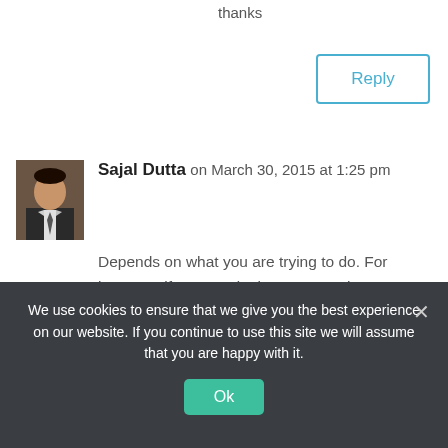thanks
Reply
Sajal Dutta on March 30, 2015 at 1:25 pm
Depends on what you are trying to do. For instance, if you need a button, you place a button. If you need text input from users, use text box. If you want to store high score in a game app, use TinyDB to store and read.
We use cookies to ensure that we give you the best experience on our website. If you continue to use this site we will assume that you are happy with it.
Ok